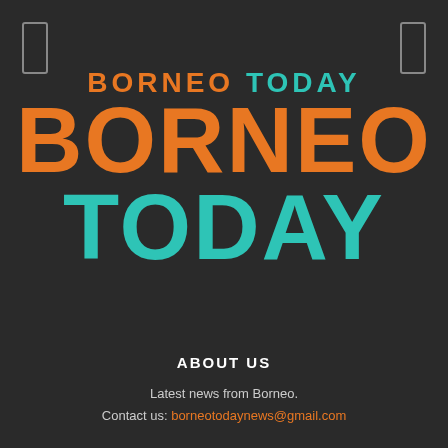[Figure (logo): Borneo Today logo: small text 'BORNEO TODAY' in orange and teal, large text 'BORNEO TODAY' in orange and teal on dark background]
ABOUT US
Latest news from Borneo.
Contact us: borneotodaynews@gmail.com
FOLLOW US
[Figure (other): Four social media icon buttons in dark grey boxes at the bottom of the page]